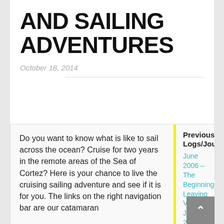AND SAILING ADVENTURES
October 18, 2014
Do you want to know what is like to sail across the ocean? Cruise for two years in the remote areas of the Sea of Cortez? Here is your chance to live the cruising sailing adventure and see if it is for you. The links on the right navigation bar are our catamaran
Previous Logs/Journals
June 2006 – The Beginning: Leaving Vancouver
July 2006
August 2006
September 2006
October